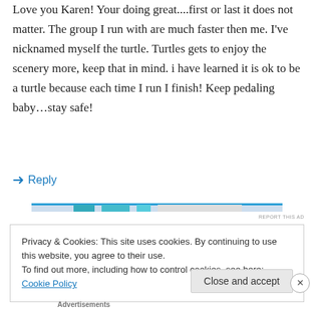Love you Karen! Your doing great....first or last it does not matter. The group I run with are much faster then me. I've nicknamed myself the turtle. Turtles gets to enjoy the scenery more, keep that in mind. i have learned it is ok to be a turtle because each time I run I finish! Keep pedaling baby…stay safe!
↪ Reply
[Figure (other): Ad banner strip with blue/teal gradient colors]
REPORT THIS AD
Privacy & Cookies: This site uses cookies. By continuing to use this website, you agree to their use.
To find out more, including how to control cookies, see here: Cookie Policy
Close and accept
Advertisements